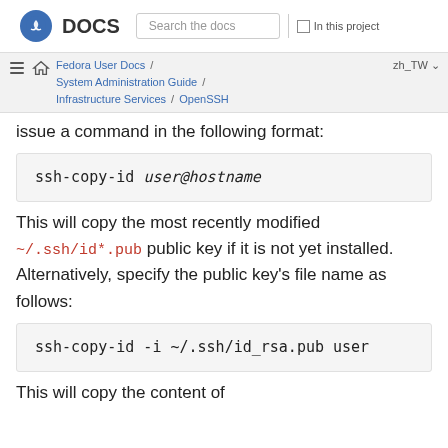DOCS | Search the docs | In this project
Fedora User Docs / System Administration Guide / Infrastructure Services / OpenSSH | zh_TW
issue a command in the following format:
ssh-copy-id user@hostname
This will copy the most recently modified ~/.ssh/id*.pub public key if it is not yet installed. Alternatively, specify the public key's file name as follows:
ssh-copy-id -i ~/.ssh/id_rsa.pub user
This will copy the content of